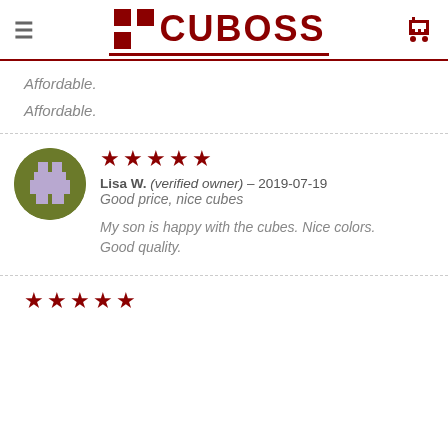CUBOSS
Affordable.
Affordable.
[Figure (other): User avatar - circular avatar with olive green background and purple/lavender pixel-art character icon]
★★★★★
Lisa W. (verified owner) – 2019-07-19
Good price, nice cubes
My son is happy with the cubes. Nice colors. Good quality.
★★★★★